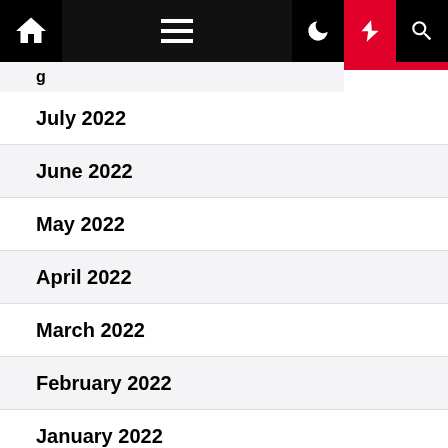Navigation bar with home, menu, dark mode, lightning, and search icons
July 2022
June 2022
May 2022
April 2022
March 2022
February 2022
January 2022
December 2021
November 2021